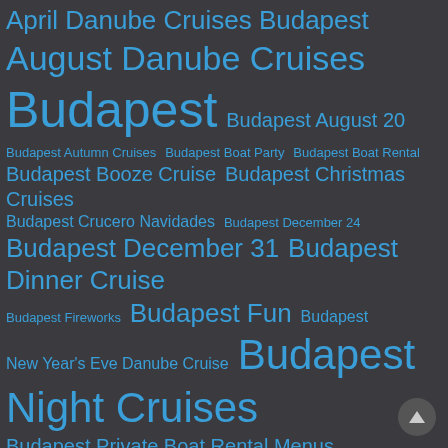[Figure (infographic): Tag cloud / word cloud on dark grey background with blue hyperlinked tags of varying sizes related to Budapest Danube cruise topics. Tags include: April Danube Cruises Budapest, August Danube Cruises, Budapest, Budapest August 20, Budapest Autumn Cruises, Budapest Boat Party, Budapest Boat Rental, Budapest Booze Cruise, Budapest Christmas Cruises, Budapest Crucero Navidades, Budapest December 24, Budapest December 31, Budapest Dinner Cruise, Budapest Fireworks, Budapest Fun, Budapest, New Year's Eve Danube Cruise, Budapest Night Cruises, Budapest Private Boat Rental Menus, Budapest Special Events, Budapest Winter, Danube Bend Tours, Danube River Cruises, December Danube Cruises Budapest, Europa Ship, Fall Cruises, February Danube Cruises Budapest, Fun Things to do in Budapest, Hungarian National Holiday, January Danube Cruises Budapest, July Danube Cruises Budapest, June Danube Cruises Budapest]